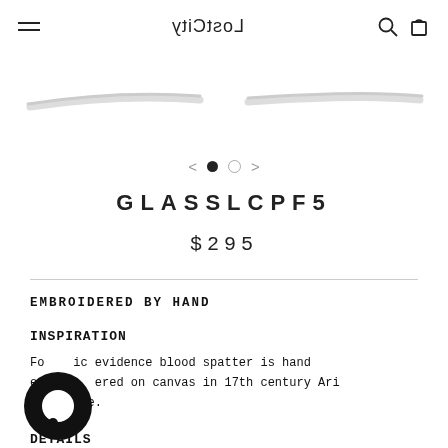LostCity (mirrored logo) with hamburger menu, search and bag icons
[Figure (photo): White glasses frame product photo, showing the temples/arms of the glasses against a white background]
< • ○ >  (carousel navigation dots)
GLASSLCPF5
$295
EMBROIDERED BY HAND
INSPIRATION
Forensic evidence blood spatter is hand embroidered on canvas in 17th century Ari technique.
DETAILS